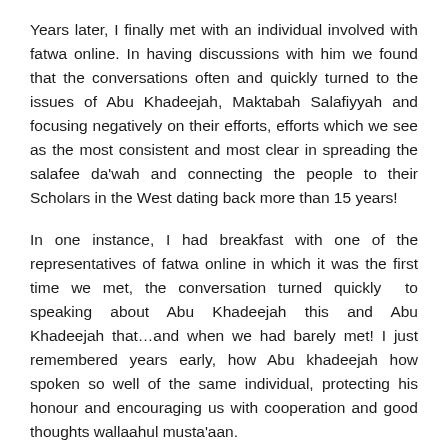Years later, I finally met with an individual involved with fatwa online. In having discussions with him we found that the conversations often and quickly turned to the issues of Abu Khadeejah, Maktabah Salafiyyah and focusing negatively on their efforts, efforts which we see as the most consistent and most clear in spreading the salafee da'wah and connecting the people to their Scholars in the West dating back more than 15 years!
In one instance, I had breakfast with one of the representatives of fatwa online in which it was the first time we met, the conversation turned quickly to speaking about Abu Khadeejah this and Abu Khadeejah that…and when we had barely met! I just remembered years early, how Abu khadeejah how spoken so well of the same individual, protecting his honour and encouraging us with cooperation and good thoughts wallaahul musta'aan.